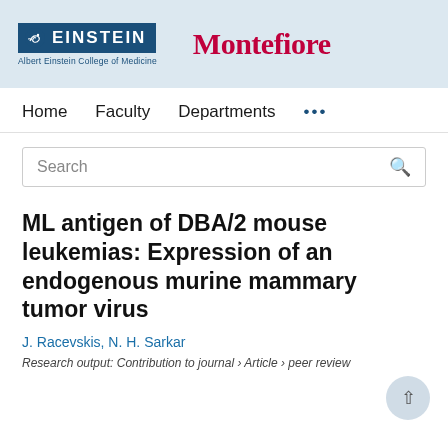[Figure (logo): Einstein (Albert Einstein College of Medicine) and Montefiore institution logos in header bar]
Home   Faculty   Departments   ...
[Figure (other): Search box with placeholder text 'Search' and search icon]
ML antigen of DBA/2 mouse leukemias: Expression of an endogenous murine mammary tumor virus
J. Racevskis, N. H. Sarkar
Research output: Contribution to journal › Article › peer review